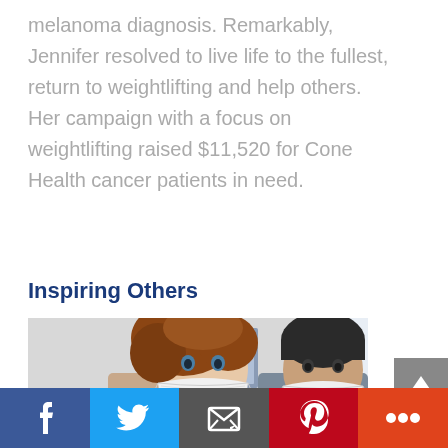melanoma diagnosis. Remarkably, Jennifer resolved to live life to the fullest, return to weightlifting and help others. Her campaign with a focus on weightlifting raised $11,520 for Cone Health cancer patients in need.
Inspiring Others
[Figure (photo): Two people wearing white N95 masks posing together indoors. The person on the left has curly red/auburn hair and the person on the right has short dark hair.]